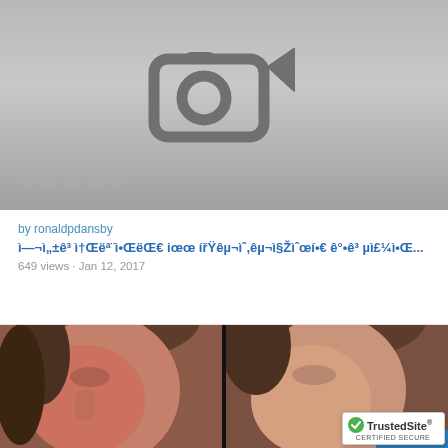[Figure (screenshot): Video thumbnail with camera icon on gray gradient background and 4 star rating]
by ronaldpdansby
ì—¬ì„±ê³ ì†Œëª¨ì•ŒëŒ€ iœœ í Ÿêµ¬ìˆ,êµ¬ì§Žìˆœí•€ ê°•êµ¬£¼ì•Œ...
649 views · Jan 12, 2017
[Figure (photo): Before and after photos of a woman's face showing skin condition improvement]
[Figure (logo): TrustedSite CERTIFIED SECURE badge]